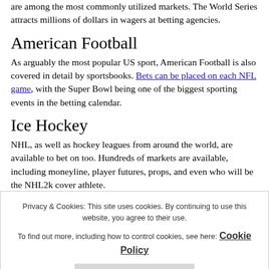are among the most commonly utilized markets. The World Series attracts millions of dollars in wagers at betting agencies.
American Football
As arguably the most popular US sport, American Football is also covered in detail by sportsbooks. Bets can be placed on each NFL game, with the Super Bowl being one of the biggest sporting events in the betting calendar.
Ice Hockey
NHL, as well as hockey leagues from around the world, are available to bet on too. Hundreds of markets are available, including moneyline, player futures, props, and even who will be the NHL2k cover athlete.
Soccer
Privacy & Cookies: This site uses cookies. By continuing to use this website, you agree to their use.
To find out more, including how to control cookies, see here: Cookie Policy
Close and accept
Sportsbook Bonuses & Promotions